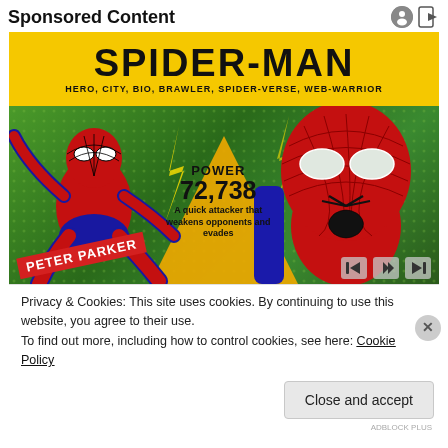Sponsored Content
[Figure (illustration): Spider-Man game advertisement showing two Spider-Man figures (animated and live-action) on a yellow and green background. Title reads SPIDER-MAN with subtitle HERO, CITY, BIO, BRAWLER, SPIDER-VERSE, WEB-WARRIOR. Center shows POWER 72,738 and text 'A quick attacker that weakens opponents and evades coming attacks'. Peter Parker tag visible. Media player controls at bottom right.]
Privacy & Cookies: This site uses cookies. By continuing to use this website, you agree to their use.
To find out more, including how to control cookies, see here: Cookie Policy
Close and accept